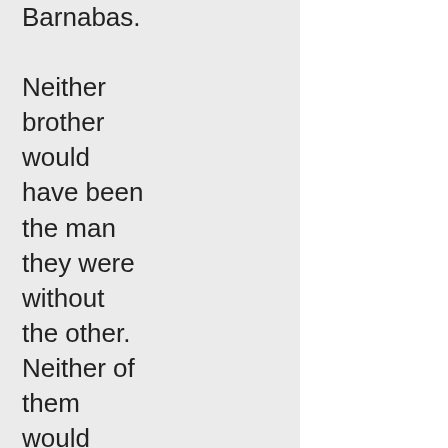Barnabas. Neither brother would have been the man they were without the other. Neither of them would have developed their unique gifts without